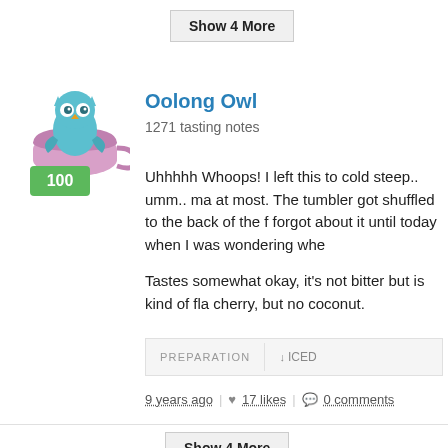[Figure (illustration): Button labeled 'Show 4 More' with gray background]
[Figure (illustration): Oolong Owl avatar: cartoon owl in a teacup, with green score badge showing 100]
Oolong Owl
1271 tasting notes
Uhhhhh Whoops! I left this to cold steep.. umm.. ma at most. The tumbler got shuffled to the back of the f forgot about it until today when I was wondering whe
Tastes somewhat okay, it's not bitter but is kind of fla cherry, but no coconut.
PREPARATION    ↓ ICED
9 years ago | ♥ 17 likes | ● 0 comments
[Figure (illustration): Button labeled 'Show 4 More' with gray background]